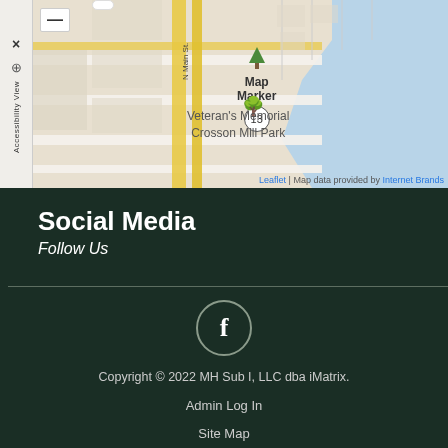[Figure (map): Street map showing Veteran's Memorial Crosson Mill Park area with map marker 13, N Main St visible, blue water area to the right, accessibility sidebar on left, zoom minus control, and tooltip at top.]
Social Media
Follow Us
[Figure (illustration): Facebook icon in a circle (letter f)]
Copyright © 2022 MH Sub I, LLC dba iMatrix.
Admin Log In
Site Map